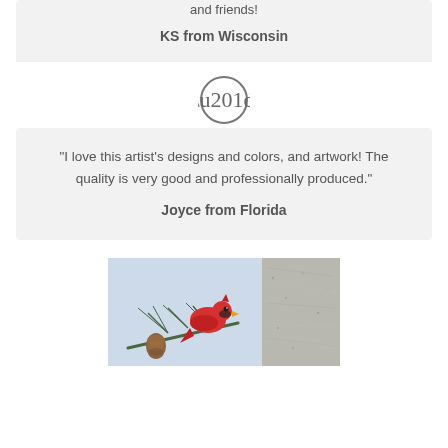and friends!
KS from Wisconsin
[Figure (illustration): Quotation mark icon — double closing quotation marks inside a circle, gray outline]
“I love this artist’s designs and colors, and artwork! The quality is very good and professionally produced.”
Joyce from Florida
[Figure (photo): Watercolor painting of a red cardinal bird on a pine branch with a pinecone, shown on a light blue background tile placed on a gray granite surface]